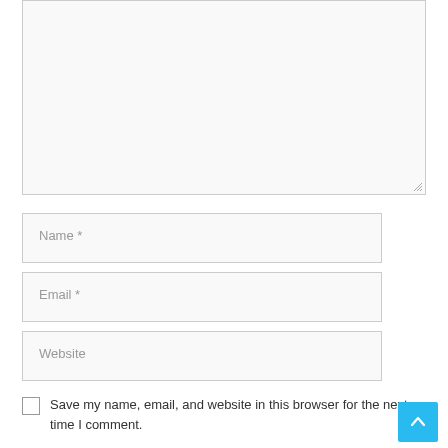[Figure (screenshot): Empty textarea input box with resize handle at bottom-right corner]
Name *
Email *
Website
Save my name, email, and website in this browser for the next time I comment.